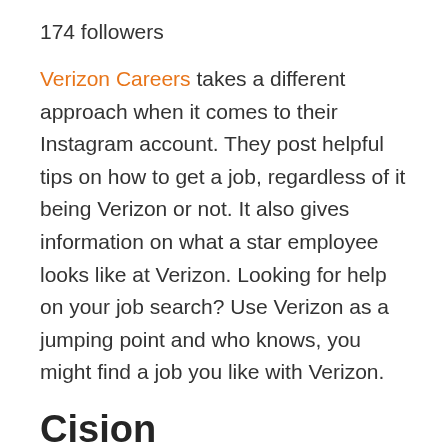174 followers
Verizon Careers takes a different approach when it comes to their Instagram account. They post helpful tips on how to get a job, regardless of it being Verizon or not. It also gives information on what a star employee looks like at Verizon. Looking for help on your job search? Use Verizon as a jumping point and who knows, you might find a job you like with Verizon.
Cision
241 followers
Even though they don't have a lot of foll...